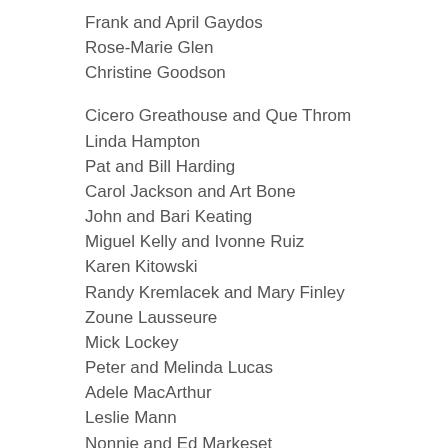Frank and April Gaydos
Rose-Marie Glen
Christine Goodson
Cicero Greathouse and Que Throm
Linda Hampton
Pat and Bill Harding
Carol Jackson and Art Bone
John and Bari Keating
Miguel Kelly and Ivonne Ruiz
Karen Kitowski
Randy Kremlacek and Mary Finley
Zoune Lausseure
Mick Lockey
Peter and Melinda Lucas
Adele MacArthur
Leslie Mann
Nonnie and Ed Markeset
Graham and Peggy Martin
Alex McLeod and Willie Williams